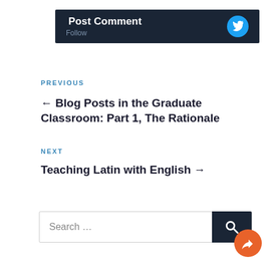[Figure (screenshot): Post Comment button with Twitter follow icon on dark navy background]
PREVIOUS
← Blog Posts in the Graduate Classroom: Part 1, The Rationale
NEXT
Teaching Latin with English →
[Figure (screenshot): Search bar with search button and share button]